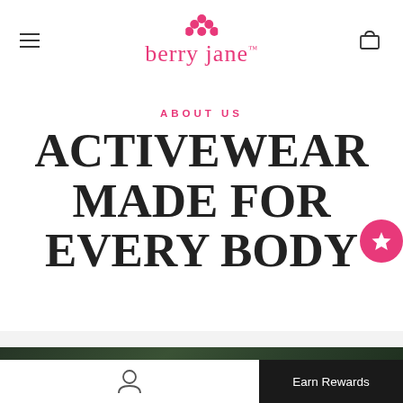[Figure (logo): Berry Jane logo with pink grape cluster icon above pink cursive brand name 'berry jane' with trademark symbol]
ABOUT US
ACTIVEWEAR MADE FOR EVERY BODY
[Figure (other): Pink circle badge with white star icon (favorites/loyalty button) on right side]
[Figure (photo): Dark green outdoor nature photo band at bottom of page]
Earn Rewards